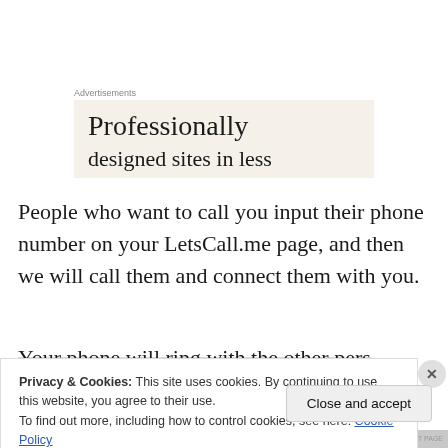Advertisements
[Figure (illustration): Advertisement banner with beige background showing 'Professionally designed sites in less' text in serif font]
People who want to call you input their phone number on your LetsCall.me page, and then we will call them and connect them with you.
Your phone will ring with the other person's Caller ID
Privacy & Cookies: This site uses cookies. By continuing to use this website, you agree to their use.
To find out more, including how to control cookies, see here: Cookie Policy
Close and accept